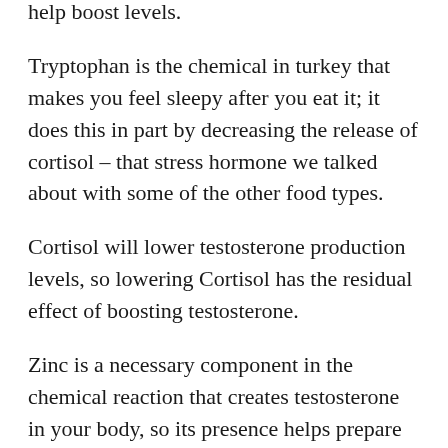help boost levels.
Tryptophan is the chemical in turkey that makes you feel sleepy after you eat it; it does this in part by decreasing the release of cortisol – that stress hormone we talked about with some of the other food types.
Cortisol will lower testosterone production levels, so lowering Cortisol has the residual effect of boosting testosterone.
Zinc is a necessary component in the chemical reaction that creates testosterone in your body, so its presence helps prepare you better to produce the hormone.
In fact, studies have documented a positive correlation